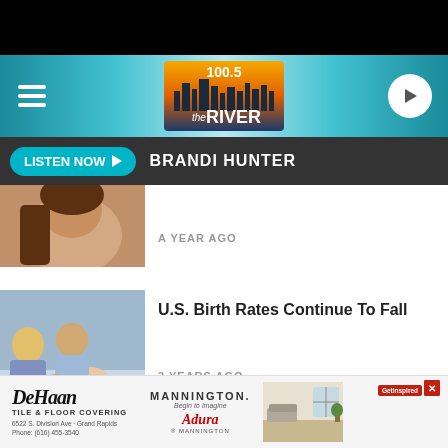[Figure (logo): 100.5 The River radio station logo with city skyline on orange/yellow/blue gradient background]
LISTEN NOW ▶ BRANDI HUNTER
[Figure (photo): Article thumbnail showing person's back/neck area]
A YEAR AGO
[Figure (photo): Article thumbnail showing a woman in labor with doctor and nurse attending]
U.S. Birth Rates Continue To Fall
3 YEARS AGO
[Figure (other): Advertisement for DeHaan Tile & Floor Covering featuring Mannington and Adura products with room image]